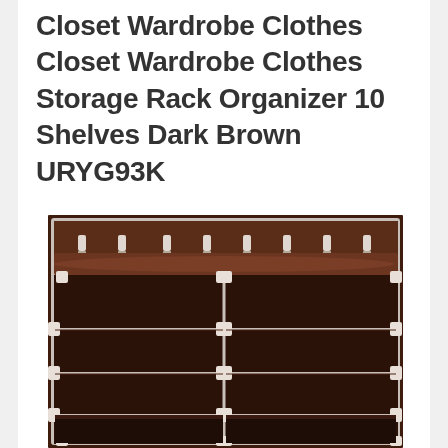Closet Wardrobe Clothes Storage Rack Organizer 10 Shelves Dark Brown URYG93K
[Figure (photo): A dark brown fabric closet wardrobe storage rack organizer with 10 shelves and a hanging rod at the top. The unit has a metal frame with brown non-woven fabric panels and white connector joints. The open-front design shows multiple compartments arranged in a grid pattern.]